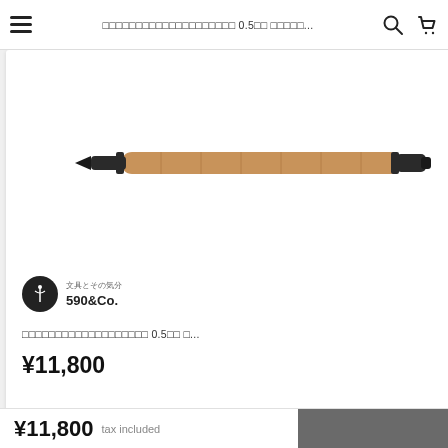☰  □□□□□□□□□□□□□□□□□□□□□ 0.5□□ □□□□□□...  🔍  🛒
[Figure (photo): Wooden mechanical pencil with dark metal tip and cap, photographed horizontally on white background]
590&Co.
□□□□□□□□□□□□□□□□□□□ 0.5□□ □...
¥11,800
□□□□□□□□□□
[Figure (photo): Three black and gold fountain/ballpoint pens shown horizontally, uncapped, recapped, and open variants]
[Figure (photo): Dark brown wooden mechanical pencil with black metal ends, shown horizontally]
¥11,800  tax included